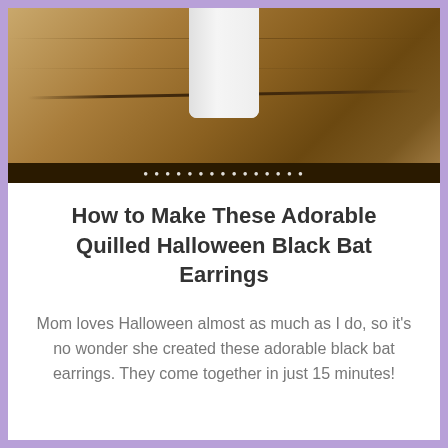[Figure (photo): Photo of a white ceramic cup or cylinder sitting on a rustic wooden surface with visible wood grain and a crack, viewed from above at an angle. The lower portion of the photo has a dark strip with stylized white text.]
How to Make These Adorable Quilled Halloween Black Bat Earrings
Mom loves Halloween almost as much as I do, so it's no wonder she created these adorable black bat earrings. They come together in just 15 minutes!